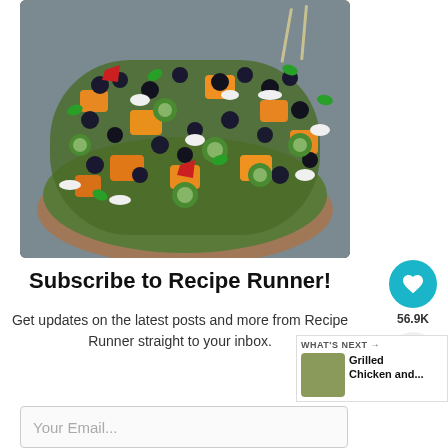[Figure (photo): Overhead view of a colorful fruit and vegetable salad bowl with blueberries, peach chunks, cucumber slices, strawberries, feta cheese crumbles, and fresh basil leaves, with forks visible at top right. Bowl has a terracotta rim.]
Subscribe to Recipe Runner!
Get updates on the latest posts and more from Recipe Runner straight to your inbox.
56.9K
WHAT'S NEXT → Grilled Chicken and...
Your Email...